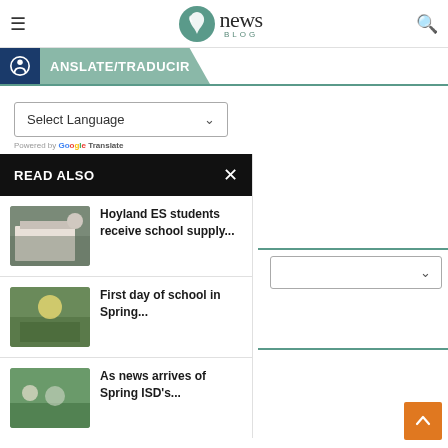news BLOG
ANSLATE/TRADUCIR
Select Language
Powered by Google Translate
READ ALSO
Hoyland ES students receive school supply...
First day of school in Spring...
As news arrives of Spring ISD's...